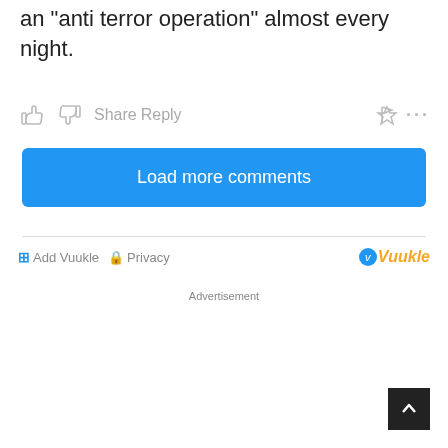an "anti terror operation" almost every night.
[Figure (screenshot): Comment action buttons row: thumbs up icon, thumbs down icon, Share text, Reply text, flag icon, ellipsis (more options)]
[Figure (other): Blue 'Load more comments' button]
[Figure (other): Footer bar with Add Vuukle, Privacy links and Vuukle logo]
Advertisement
[Figure (other): Back to top button (dark square with upward arrow)]